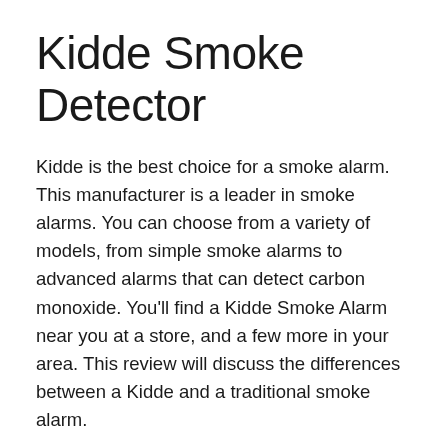Kidde Smoke Detector
Kidde is the best choice for a smoke alarm. This manufacturer is a leader in smoke alarms. You can choose from a variety of models, from simple smoke alarms to advanced alarms that can detect carbon monoxide. You’ll find a Kidde Smoke Alarm near you at a store, and a few more in your area. This review will discuss the differences between a Kidde and a traditional smoke alarm.
The Kidde Smoke Alarm includes a mounting bracket that attaches to it. To mount it,